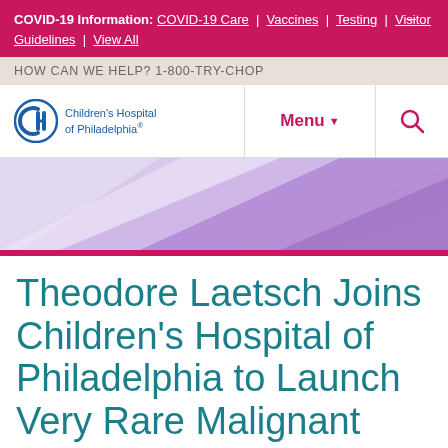COVID-19 Information: COVID-19 Care | Vaccines | Testing | Visitor Guidelines | View All
HOW CAN WE HELP? 1-800-TRY-CHOP
[Figure (logo): Children's Hospital of Philadelphia logo with CH icon and text]
Menu
[Figure (illustration): Abstract geometric purple/lavender hero banner with diagonal shapes]
Theodore Laetsch Joins Children's Hospital of Philadelphia to Launch Very Rare Malignant Tumor Program